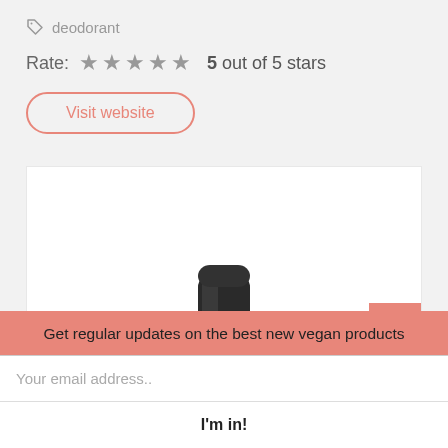deodorant
Rate: ★★★★★ 5 out of 5 stars
Visit website
[Figure (photo): A small black cylindrical deodorant cap/container shown against a white background inside a bordered product image box]
Get regular updates on the best new vegan products
Your email address..
I'm in!